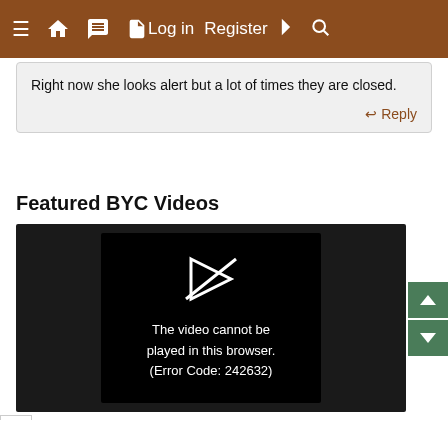≡  🏠  💬  📋   Log in   Register  ⚡  🔍
Right now she looks alert but a lot of times they are closed.
↩ Reply
Featured BYC Videos
[Figure (screenshot): Video player showing error: The video cannot be played in this browser. (Error Code: 242632)]